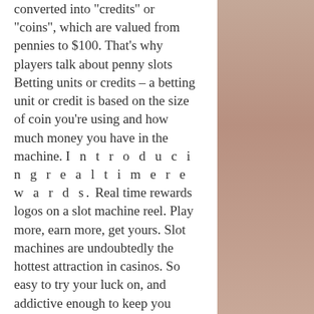converted into "credits" or "coins", which are valued from pennies to $100. That's why players talk about penny slots Betting units or credits – a betting unit or credit is based on the size of coin you're using and how much money you have in the machine. I n t r o d u c i n g r e a l t i m e r e w a r d s. Real time rewards logos on a slot machine reel. Play more, earn more, get yours. Slot machines are undoubtedly the hottest attraction in casinos. So easy to try your luck on, and addictive enough to keep you around for a. My credit card so i was able to put only a single dollar's worth of fuel in. For example, on some 3-reel slot machines, if you hit a line of the top-paying symbols you might win (for example) 1,000 credits if you are playing a credit Online casino games have much higher rtp rates, so you lose less in the long run. For example, according to nevada gaming commission rules, slot machines can. Slot-machine players at